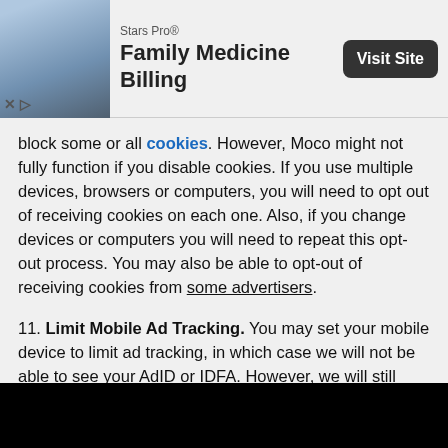[Figure (screenshot): Advertisement banner: Stars Pro® Family Medicine Billing with Visit Site button and an image of medical professionals]
block some or all cookies. However, Moco might not fully function if you disable cookies. If you use multiple devices, browsers or computers, you will need to opt out of receiving cookies on each one. Also, if you change devices or computers you will need to repeat this opt-out process. You may also be able to opt-out of receiving cookies from some advertisers.
11. Limit Mobile Ad Tracking. You may set your mobile device to limit ad tracking, in which case we will not be able to see your AdID or IDFA. However, we will still share other personal information to our advertising partners as described in this Privacy Policy.
12. Do Not Track Signals. Some Internet browsers and mobile devices include the option to transmit "Do Not Track" or "Limit Ad Tracking quot; signals, but there are no uniform standards for this. If we detect these signals we will not share your personal account data, including device identifiers, IP address and location, with our 3rd party advertising, analytics and other partners, which they may
[Figure (screenshot): Mobile app bottom navigation bar with Meet, Rooms, Chat, and Me icons]